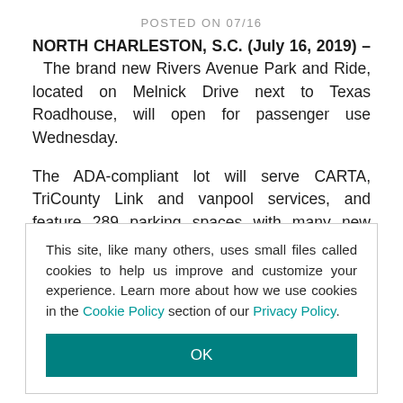POSTED ON 07/16
NORTH CHARLESTON, S.C. (July 16, 2019) – The brand new Rivers Avenue Park and Ride, located on Melnick Drive next to Texas Roadhouse, will open for passenger use Wednesday.
The ADA-compliant lot will serve CARTA, TriCounty Link and vanpool services, and feature 289 parking spaces with many new amenities including shelters, bathrooms, fencing and bike racks. The lot will also be monitored by cameras 24/7.
"This location marks the first time...
This site, like many others, uses small files called cookies to help us improve and customize your experience. Learn more about how we use cookies in the Cookie Policy section of our Privacy Policy.
OK